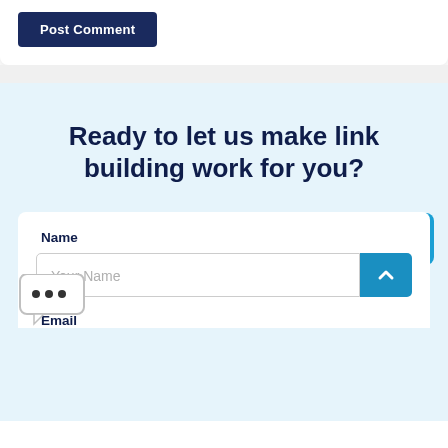[Figure (screenshot): Post Comment button — dark navy blue button with white bold text]
Ready to let us make link building work for you?
[Figure (illustration): Blue speech bubble / chat icon with two horizontal lines, positioned top right]
[Figure (illustration): White speech bubble with three dots (...), positioned left side]
Name
Your Name
Email